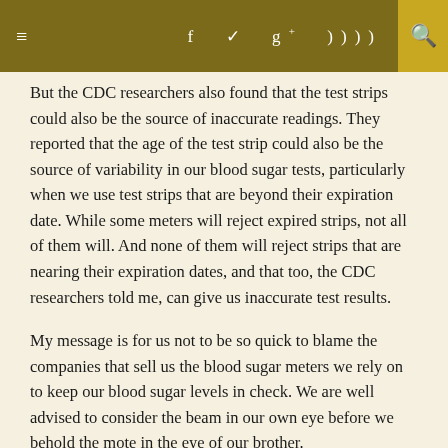≡  f  ✓  g+  )))  🔍
But the CDC researchers also found that the test strips could also be the source of inaccurate readings. They reported that the age of the test strip could also be the source of variability in our blood sugar tests, particularly when we use test strips that are beyond their expiration date. While some meters will reject expired strips, not all of them will. And none of them will reject strips that are nearing their expiration dates, and that too, the CDC researchers told me, can give us inaccurate test results.
My message is for us not to be so quick to blame the companies that sell us the blood sugar meters we rely on to keep our blood sugar levels in check. We are well advised to consider the beam in our own eye before we behold the mote in the eye of our brother.
This article is based on an earlier version of my article published by HealthCentral